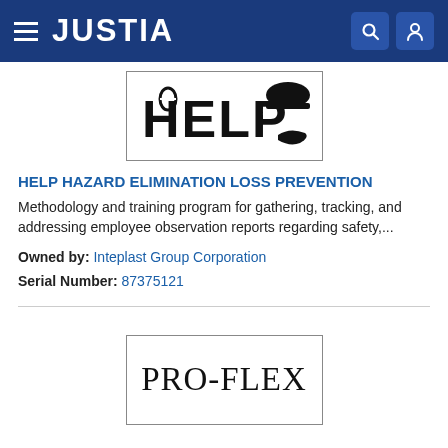JUSTIA
[Figure (logo): HELP trademark image showing the word HELP with safety/person silhouette imagery in black and white, inside a bordered rectangle]
HELP HAZARD ELIMINATION LOSS PREVENTION
Methodology and training program for gathering, tracking, and addressing employee observation reports regarding safety,...
Owned by: Inteplast Group Corporation
Serial Number: 87375121
[Figure (logo): PRO-FLEX trademark text in serif font inside a bordered rectangle]